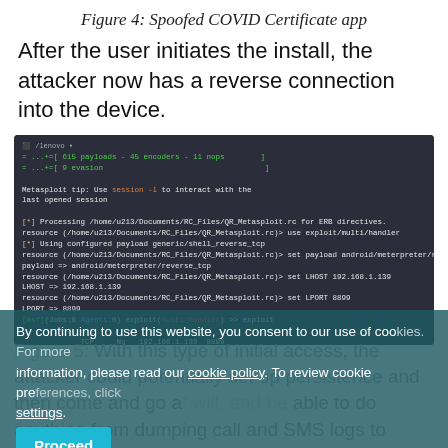Figure 4: Spoofed COVID Certificate app
After the user initiates the install, the attacker now has a reverse connection into the device.
[Figure (screenshot): Terminal/console screenshot showing Metasploit framework loading with payloads, encoders, nops, evasion stats, and resource script commands setting up multi/handler exploit with android/meterpreter/reverse_tcp payload on LHOST 192.168.1.139 port 8899.]
By continuing to use this website, you consent to our use of cookies. For more information, please read our cookie policy. To review cookie preferences, click settings.
With this type of initial access, the attacker could potentially set up persistence and then come and go at will, and be able to do anything from dumping call and SMS logs to taking pictures with the camera. In other words, anything a legitimate app can do.